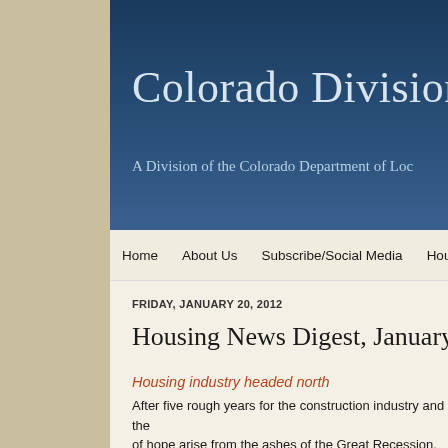Colorado Division
A Division of the Colorado Department of Loc
Home   About Us   Subscribe/Social Media   Housing Res
FRIDAY, JANUARY 20, 2012
Housing News Digest, January 20
Housing industry headed north
After five rough years for the construction industry and the of hope arise from the ashes of the Great Recession.